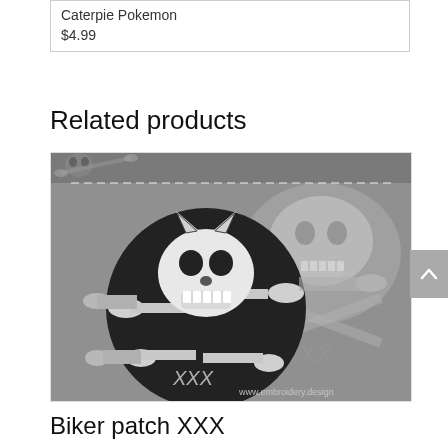Caterpie Pokemon
$4.99
Related products
[Figure (photo): Embroidered biker patch showing a skull with devil horns and crossbones on a dark circular background, with XXX text below; background shows larger skull and crossbones motif; watermark reads www.embroidery.design]
Biker patch XXX